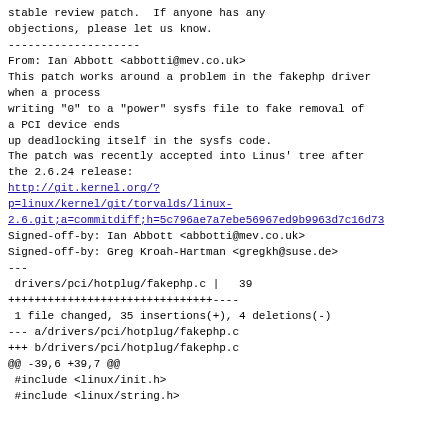stable review patch. If anyone has any objections, please let us know.
--------------------
From: Ian Abbott <abbotti@mev.co.uk>
This patch works around a problem in the fakephp driver when a process writing "0" to a "power" sysfs file to fake removal of a PCI device ends up deadlocking itself in the sysfs code.
The patch was recently accepted into Linus' tree after the 2.6.24 release:
http://git.kernel.org/?p=linux/kernel/git/torvalds/linux-2.6.git;a=commitdiff;h=5c796ae7a7ebe56967ed9b9963d7c16d73
Signed-off-by: Ian Abbott <abbotti@mev.co.uk>
Signed-off-by: Greg Kroah-Hartman <gregkh@suse.de>
---
 drivers/pci/hotplug/fakephp.c |   39
+++++++++++++++++++++++++++++++----
 1 file changed, 35 insertions(+), 4 deletions(-)
--- a/drivers/pci/hotplug/fakephp.c
+++ b/drivers/pci/hotplug/fakephp.c
@@ -39,6 +39,7 @@
 #include <linux/init.h>
 #include <linux/string.h>